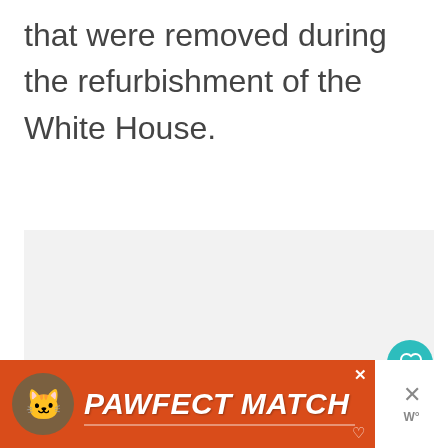that were removed during the refurbishment of the White House.
[Figure (screenshot): Light gray content area placeholder region below the text]
[Figure (infographic): UI overlay elements: teal heart/like button showing 1.3K likes, white share button with share icon]
[Figure (infographic): What's Next card showing circular thumbnail and text 'Visiting the Mercer...']
[Figure (screenshot): Ad banner: orange/red PAWFECT MATCH advertisement with cat image, close X button, and right side dismiss controls]